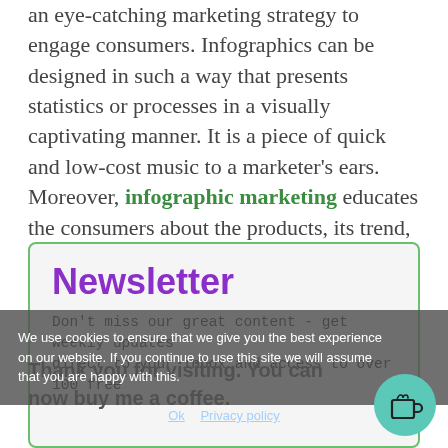an eye-catching marketing strategy to engage consumers. Infographics can be designed in such a way that presents statistics or processes in a visually captivating manner. It is a piece of quick and low-cost music to a marketer's ears. Moreover, infographic marketing educates the consumers about the products, its trend, and demographic data over the last few years.
Newsletter
Don't miss our great content - get weekly updates direct to your inbox and access to over 100 free
We use cookies to ensure that we give you the best experience on our website. If you continue to use this site we will assume that you are happy with this.
Thank you for visiting. You can now buy me a coffee.